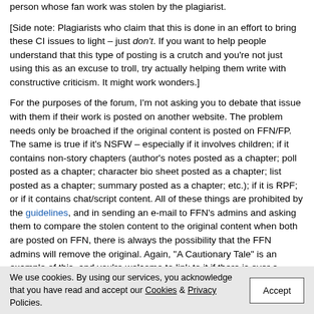person whose fan work was stolen by the plagiarist.
[Side note: Plagiarists who claim that this is done in an effort to bring these CI issues to light – just don't. If you want to help people understand that this type of posting is a crutch and you're not just using this as an excuse to troll, try actually helping them write with constructive criticism. It might work wonders.]
For the purposes of the forum, I'm not asking you to debate that issue with them if their work is posted on another website. The problem needs only be broached if the original content is posted on FFN/FP. The same is true if it's NSFW – especially if it involves children; if it contains non-story chapters (author's notes posted as a chapter; poll posted as a chapter; character bio sheet posted as a chapter; list posted as a chapter; summary posted as a chapter; etc.); if it is RPF; or if it contains chat/script content. All of these things are prohibited by the guidelines, and in sending an e-mail to FFN's admins and asking them to compare the stolen content to the original content when both are posted on FFN, there is always the possibility that the FFN admins will remove the original. Again, "A Cautionary Tale" is an example of this, and you're welcome to link to it if there is ever a question from an OA.
I try to refrain from contacting OAs on very small archives as, unless the archive is active, it's not likely they'll see the notification. This is why you might have seen a note in a case thread stating that an OA has been sent
We use cookies. By using our services, you acknowledge that you have read and accept our Cookies & Privacy Policies.